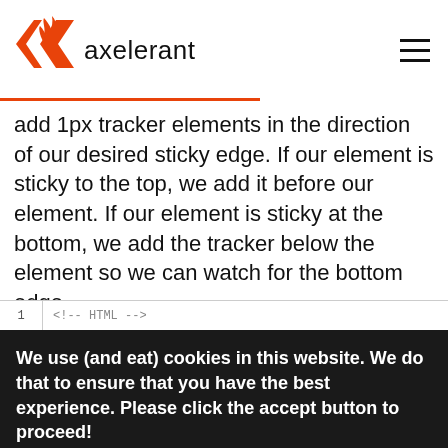axelerant
add 1px tracker elements in the direction of our desired sticky edge. If our element is sticky to the top, we add it before our element. If our element is sticky at the bottom, we add the tracker below the element so we can watch for the bottom edge.
[Figure (screenshot): Code block showing HTML with nav-container div and tracker elements in dark theme editor]
We use (and eat) cookies in this website. We do that to ensure that you have the best experience. Please click the accept button to proceed!
ACCEPT COOKIES  DECLINE